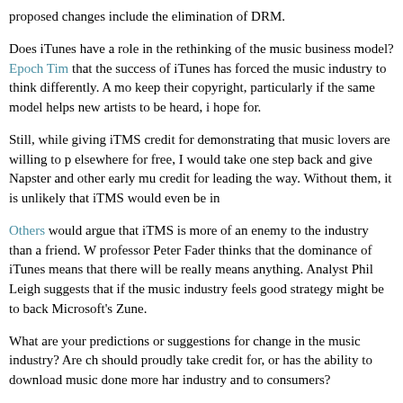proposed changes include the elimination of DRM.
Does iTunes have a role in the rethinking of the music business model? Epoch Tim... that the success of iTunes has forced the music industry to think differently. A model... keep their copyright, particularly if the same model helps new artists to be heard, i... hope for.
Still, while giving iTMS credit for demonstrating that music lovers are willing to p... elsewhere for free, I would take one step back and give Napster and other early mu... credit for leading the way. Without them, it is unlikely that iTMS would even be in...
Others would argue that iTMS is more of an enemy to the industry than a friend. W... professor Peter Fader thinks that the dominance of iTunes means that there will be... really means anything. Analyst Phil Leigh suggests that if the music industry feels... good strategy might be to back Microsoft's Zune.
What are your predictions or suggestions for change in the music industry? Are ch... should proudly take credit for, or has the ability to download music done more har... industry and to consumers?
Labels need to change with the times. This could be to the advantage of artists and... forward to seeing what other innovations occur in the industry.
Share this article
del.icio.us Favicon del.icio.us   Digg Favicon Digg   Facebook Favicon... Slashdot Favicon Slashdot   StumbleUpon Favicon StumbleUpon